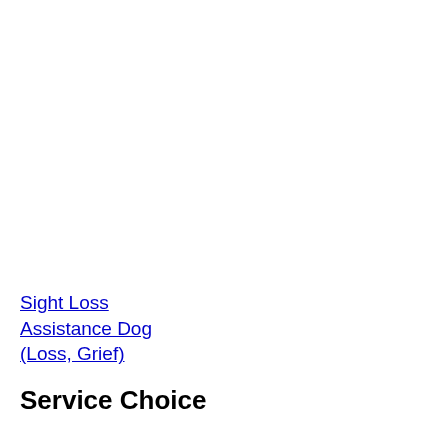Sight Loss Assistance Dog (Loss, Grief)
Service Choice